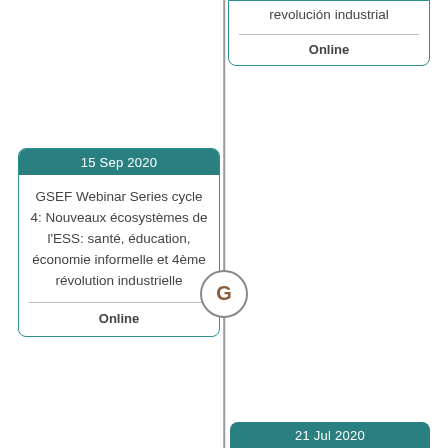revolución industrial
Online
15 Sep 2020
GSEF Webinar Series cycle 4: Nouveaux écosystèmes de l'ESS: santé, éducation, économie informelle et 4ème révolution industrielle
Online
21 Jul 2020